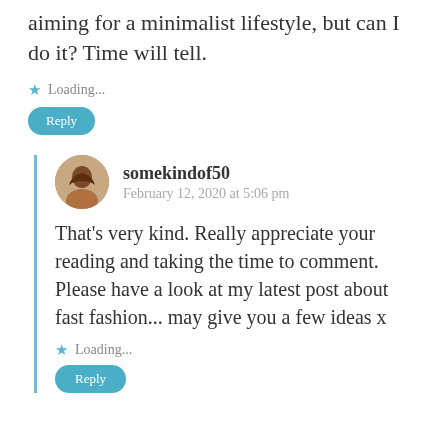aiming for a minimalist lifestyle, but can I do it? Time will tell.
Loading...
Reply
somekindof50
February 12, 2020 at 5:06 pm
That's very kind. Really appreciate your reading and taking the time to comment. Please have a look at my latest post about fast fashion... may give you a few ideas x
Loading...
Reply